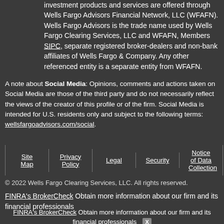investment products and services are offered through Wells Fargo Advisors Financial Network, LLC (WFAFN). Wells Fargo Advisors is the trade name used by Wells Fargo Clearing Services, LLC and WFAFN, Members SIPC, separate registered broker-dealers and non-bank affiliates of Wells Fargo & Company. Any other referenced entity is a separate entity from WFAFN.
A note about Social Media: Opinions, comments and actions taken on Social Media are those of the third party and do not necessarily reflect the views of the creator of this profile or of the firm. Social Media is intended for U.S. residents only and subject to the following terms: wellsfargoadvisors.com/social.
Site Map
Privacy Policy
Legal
Security
Notice of Data Collection
© 2022 Wells Fargo Clearing Services, LLC. All rights reserved.
FINRA's BrokerCheck Obtain more information about our firm and its financial professionals
FINRA's BrokerCheck Obtain more information about our firm and its financial professionals X